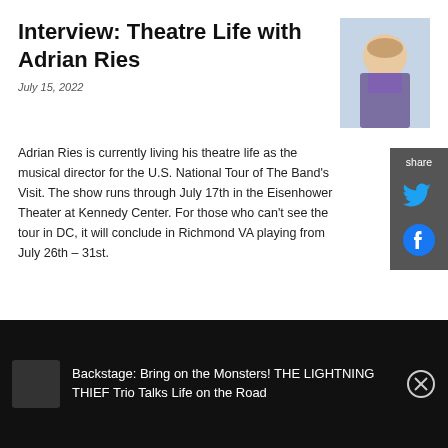Interview: Theatre Life with Adrian Ries
July 15, 2022
[Figure (photo): Headshot of Adrian Ries, young man smiling, wearing a purple shirt]
Adrian Ries is currently living his theatre life as the musical director for the U.S. National Tour of The Band's Visit. The show runs through July 17th in the Eisenhower Theater at Kennedy Center. For those who can't see the tour in DC, it will conclude in Richmond VA playing from July 26th - 31st.
Interview: Theatre Life with Bree Lowdermilk
July 14, 2022
[Figure (photo): Headshot of Bree Lowdermilk, person smiling with dark hair]
Backstage: Bring on the Monsters! THE LIGHTNING THIEF Trio Talks Life on the Road